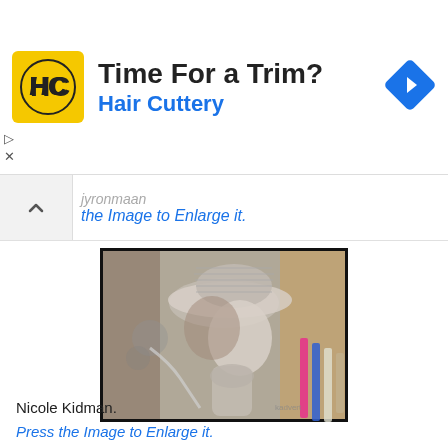[Figure (other): Hair Cuttery advertisement banner with HC logo in yellow square, headline 'Time For a Trim?' and subheadline 'Hair Cuttery', with navigation arrow diamond icon on right]
the Image to Enlarge it.
[Figure (photo): Black and white artistic portrait drawing/sketch of Nicole Kidman wearing a wide-brim hat with floral decoration and bow tie blouse, with colored pencils visible at right edge and jewelry/flowers on left]
Nicole Kidman.
Press the Image to Enlarge it.